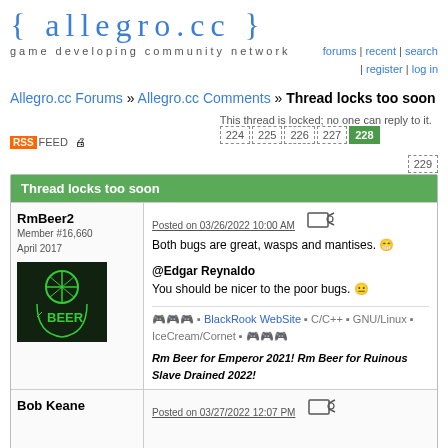{ allegro.cc }
game developing community network
forums | recent | search | register | log in
Allegro.cc Forums » Allegro.cc Comments » Thread locks too soon
This thread is locked; no one can reply to it.
224 225 226 227 228 229
Thread locks too soon
RmBeer2
Member #16,660
April 2017
Posted on 03/26/2022 10:00 AM
Both bugs are great, wasps and mantises. 😁

@Edgar Reynaldo
You should be nicer to the poor bugs. 😐

🎮🎮🎮 ▪ BlackRook WebSite ▪ C/C++ ▪ GNU/Linux ▪ IceCream/Cornet ▪ 🎮🎮🎮

Rm Beer for Emperor 2021! Rm Beer for Ruinous Slave Drained 2022!
Bob Keane
Posted on 03/27/2022 12:07 PM